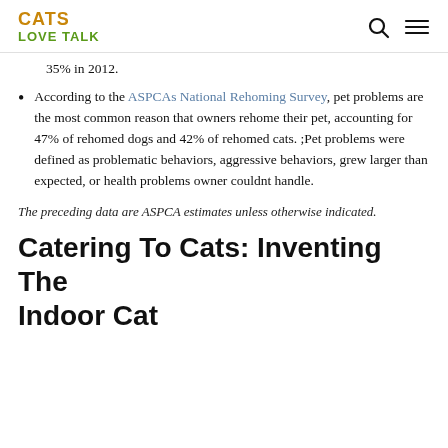CATS LOVE TALK
35% in 2012.
According to the ASPCAs National Rehoming Survey, pet problems are the most common reason that owners rehome their pet, accounting for 47% of rehomed dogs and 42% of rehomed cats. ;Pet problems were defined as problematic behaviors, aggressive behaviors, grew larger than expected, or health problems owner couldnt handle.
The preceding data are ASPCA estimates unless otherwise indicated.
Catering To Cats: Inventing The Indoor Cat